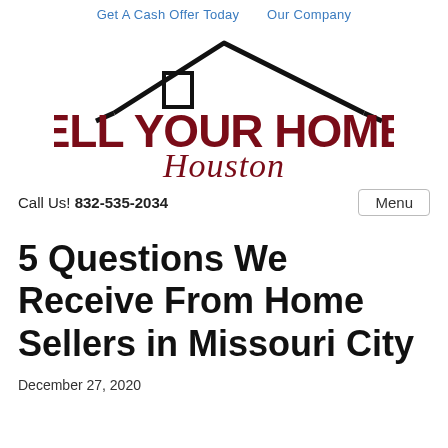Get A Cash Offer Today   Our Company
[Figure (logo): Sell Your Homes Houston logo with house roofline graphic above bold dark red text 'SELL YOUR HOMES' and cursive script 'Houston' below]
Call Us! 832-535-2034
Menu
5 Questions We Receive From Home Sellers in Missouri City
December 27, 2020